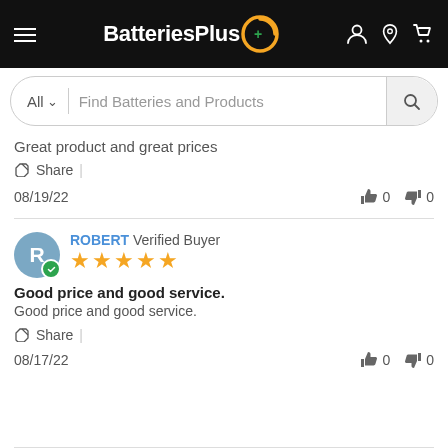BatteriesPlus — navigation bar with logo, hamburger menu, and icons
All  Find Batteries and Products
Great product and great prices
Share  |
08/19/22    👍 0   👎 0
ROBERT  Verified Buyer  ★★★★★  Good price and good service.  Good price and good service.  Share |  08/17/22   👍 0  👎 0